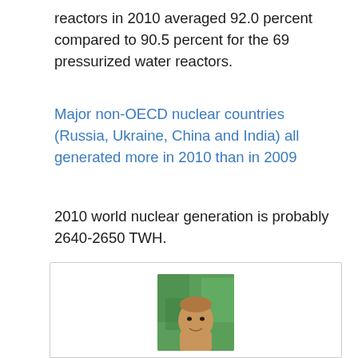reactors in 2010 averaged 92.0 percent compared to 90.5 percent for the 69 pressurized water reactors.
Major non-OECD nuclear countries (Russia, Ukraine, China and India) all generated more in 2010 than in 2009
2010 world nuclear generation is probably 2640-2650 TWH.
If you liked this article, please give it a quick review on ycombinator or StumbleUpon. Thanks
[Figure (photo): Headshot photo of a person outdoors with green foliage background]